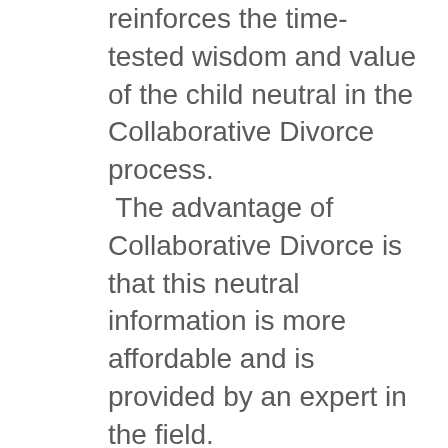reinforces the time-tested wisdom and value of the child neutral in the Collaborative Divorce process.  The advantage of Collaborative Divorce is that this neutral information is more affordable and is provided by an expert in the field.

If you believe that obtaining neutral expert information...